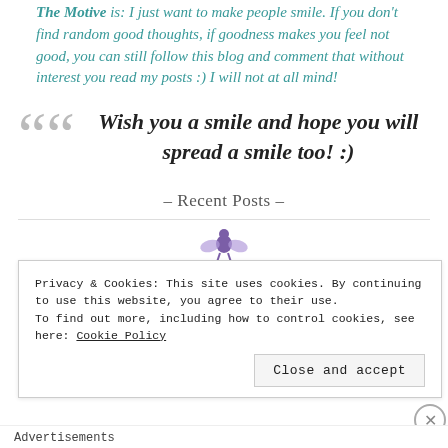The Motive is: I just want to make people smile. If you don't find random good thoughts, if goodness makes you feel not good, you can still follow this blog and comment that without interest you read my posts :) I will not at all mind!
Wish you a smile and hope you will spread a smile too! :)
- Recent Posts -
[Figure (illustration): Small angel/fairy icon in purple]
Privacy & Cookies: This site uses cookies. By continuing to use this website, you agree to their use.
To find out more, including how to control cookies, see here: Cookie Policy
Close and accept
Advertisements